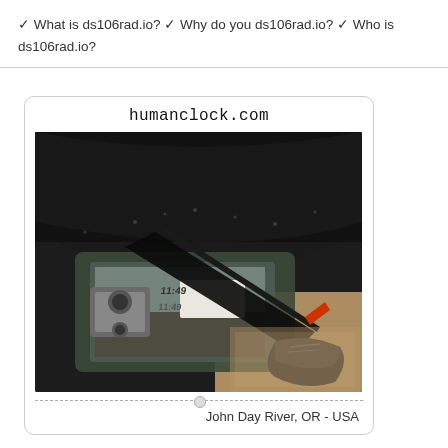✔ What is ds106rad.io? ✔ Why do you ds106rad.io? ✔ Who is ds106rad.io?
[Figure (photo): A card-style widget from humanclock.com showing a photograph of a vehicle side mirror reflecting a digital clock reading 11:49, with a person's foot visible and outdoor scenery. Below the image is a dashed separator line with a center dot, and the location label 'John Day River, OR - USA'.]